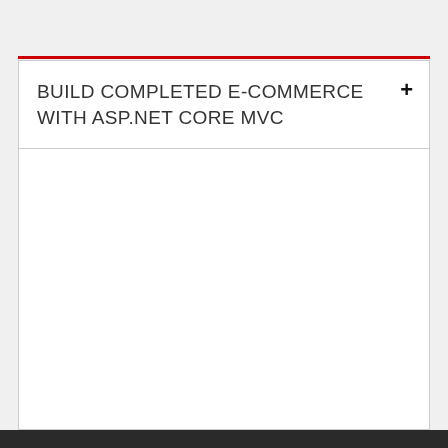BUILD COMPLETED E-COMMERCE WITH ASP.NET CORE MVC